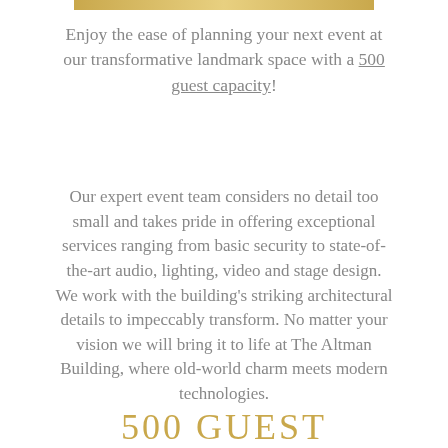Enjoy the ease of planning your next event at our transformative landmark space with a 500 guest capacity!
Our expert event team considers no detail too small and takes pride in offering exceptional services ranging from basic security to state-of-the-art audio, lighting, video and stage design. We work with the building’s striking architectural details to impeccably transform. No matter your vision we will bring it to life at The Altman Building, where old-world charm meets modern technologies.
500 GUEST